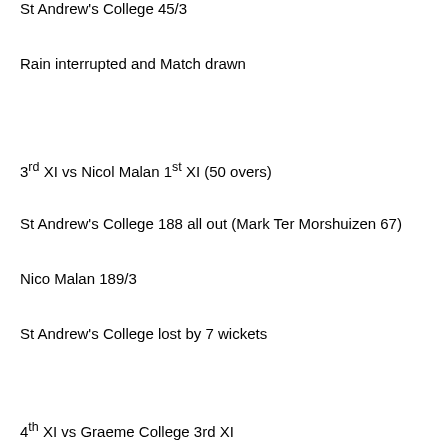St Andrew's College 45/3
Rain interrupted and Match drawn
3rd XI vs Nicol Malan 1st XI (50 overs)
St Andrew's College 188 all out (Mark Ter Morshuizen 67)
Nico Malan 189/3
St Andrew's College lost by 7 wickets
4th XI vs Graeme College 3rd XI